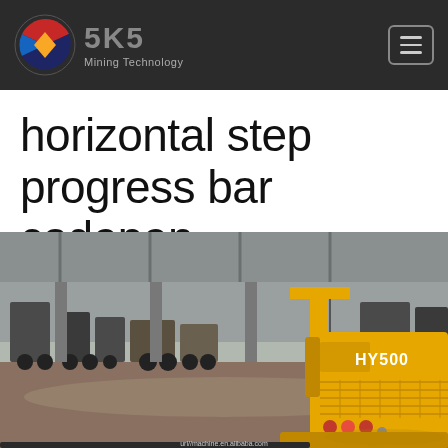SKS Mining Technology
horizontal step progress bar codepen
[Figure (photo): Industrial warehouse/factory floor with mining machinery and a yellow HY500 piece of mining equipment in the foreground]